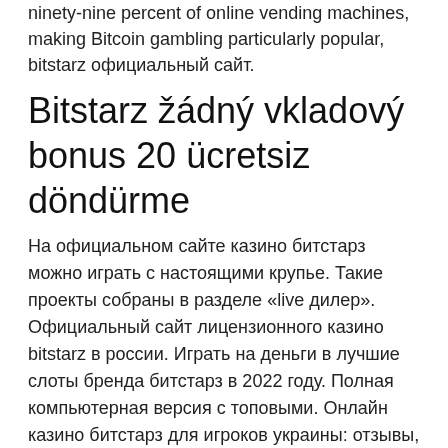ninety-nine percent of online vending machines, making Bitcoin gambling particularly popular, bitstarz официальный сайт.
Bitstarz žádný vkladový bonus 20 ücretsiz döndürme
На официальном сайте казино битстарз можно играть с настоящими крупье. Такие проекты собраны в разделе «live дилер». Официальный сайт лицензионного казино bitstarz в россии. Играть на деньги в лучшие слоты бренда битстарз в 2022 году. Полная компьютерная версия с топовыми. Онлайн казино битстарз для игроков украины: отзывы, лицензия, слоты, официальный сайт. Заходи на зеркало bitstarz casino и получи 100% бонус. Игра на официальном сайте bitstarz казино полностью честная и